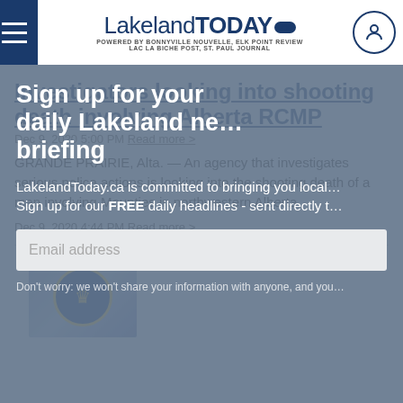LakelandTODAY.ca — POWERED BY BONNYVILLE NOUVELLE, ELK POINT REVIEW, LAC LA BICHE POST, ST. PAUL JOURNAL
Sign up for your daily Lakeland news briefing
LakelandToday.ca is committed to bringing you local news. Sign up for our FREE daily headlines - sent directly to your inbox.
Email address
Don't worry: we won't share your information with anyone, and you can unsubscribe at any time.
Investigators looking into shooting death involving Alberta RCMP
GRANDE PRAIRIE, Alta. — An agency that investigates serious police actions is looking into the shooting death of a man involving Mounties in northwestern Alberta.
Dec 9, 2020 4:44 PM  Read more >
[Figure (photo): RCMP badge/logo thumbnail image]